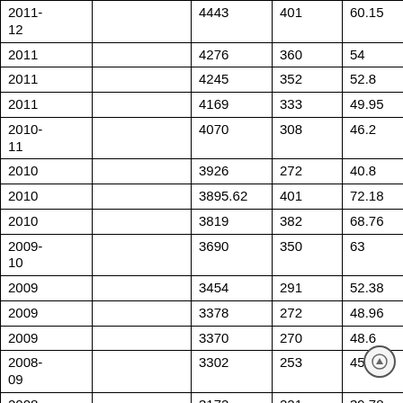| Year |  | Col3 | Col4 | Col5 |
| --- | --- | --- | --- | --- |
| 2011-12 |  | 4443 | 401 | 60.15 |
| 2011 |  | 4276 | 360 | 54 |
| 2011 |  | 4245 | 352 | 52.8 |
| 2011 |  | 4169 | 333 | 49.95 |
| 2010-11 |  | 4070 | 308 | 46.2 |
| 2010 |  | 3926 | 272 | 40.8 |
| 2010 |  | 3895.62 | 401 | 72.18 |
| 2010 |  | 3819 | 382 | 68.76 |
| 2009-10 |  | 3690 | 350 | 63 |
| 2009 |  | 3454 | 291 | 52.38 |
| 2009 |  | 3378 | 272 | 48.96 |
| 2009 |  | 3370 | 270 | 48.6 |
| 2008-09 |  | 3302 | 253 | 45.54 |
| 2008 |  | 3172 | 221 | 39.78 |
| 2008 |  | 3089 | 200 | 36 |
| 2007-08 |  | 3056 | 192 | 34.56 |